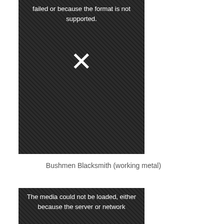[Figure (photo): Failed media placeholder — dark textured background with white error text reading 'failed or because the format is not supported.' and a large white X mark in the center]
Bushmen Blacksmith (working metal)
[Figure (photo): Failed media placeholder — dark textured background with white error text reading 'The media could not be loaded, either because the server or network']